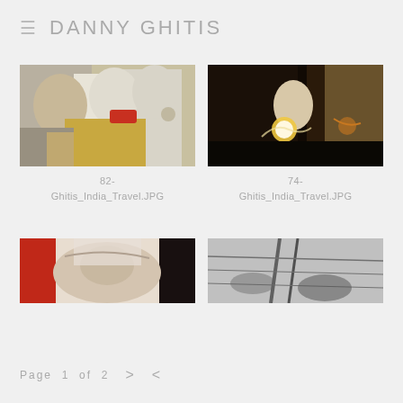≡  DANNY GHITIS
[Figure (photo): Two people in white traditional clothing, one leaning toward the other, indoor setting with golden decorations]
82-
Ghitis_India_Travel.JPG
[Figure (photo): Young girl holding sparklers in a dark indoor setting with warm golden light]
74-
Ghitis_India_Travel.JPG
[Figure (photo): Close-up portrait of elderly man with white head covering, partially visible, red element on left, black on right]
[Figure (photo): Black and white photo of ladder and power lines against sky with trees]
Page  1  of  2    >    <